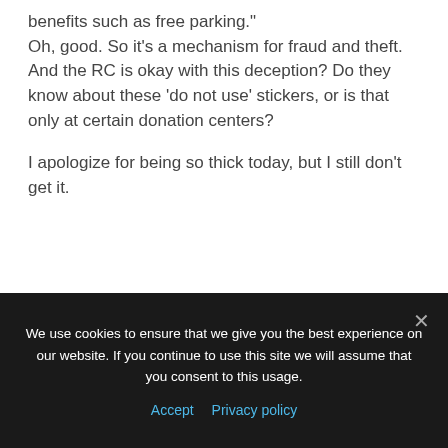benefits such as free parking."
Oh, good. So it's a mechanism for fraud and theft.
And the RC is okay with this deception? Do they know about these 'do not use' stickers, or is that only at certain donation centers?

I apologize for being so thick today, but I still don't get it.
Les 'wtf' Nessman FEBRUARY 20, 2005
julie-
"Do I really have to explain to you how
We use cookies to ensure that we give you the best experience on our website. If you continue to use this site we will assume that you consent to this usage.
Accept  Privacy policy